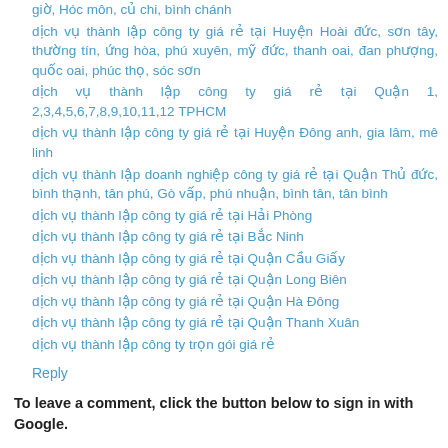giờ, Hóc môn, củ chi, bình chánh
dịch vụ thành lập công ty giá rẻ tại Huyện Hoài đức, sơn tây, thường tín, ứng hòa, phú xuyên, mỹ đức, thanh oai, đan phượng, quốc oai, phúc thọ, sóc sơn
dịch vụ thành lập công ty giá rẻ tại Quận 1, 2,3,4,5,6,7,8,9,10,11,12 TPHCM
dịch vụ thành lập công ty giá rẻ tại Huyện Đông anh, gia lâm, mê linh
dịch vụ thành lập doanh nghiệp công ty giá rẻ tại Quận Thủ đức, bình thạnh, tân phú, Gò vấp, phú nhuận, bình tân, tân bình
dịch vụ thành lập công ty giá rẻ tại Hải Phòng
dịch vụ thành lập công ty giá rẻ tại Bắc Ninh
dịch vụ thành lập công ty giá rẻ tại Quận Cầu Giấy
dịch vụ thành lập công ty giá rẻ tại Quận Long Biên
dịch vụ thành lập công ty giá rẻ tại Quận Hà Đông
dịch vụ thành lập công ty giá rẻ tại Quận Thanh Xuân
dịch vụ thành lập công ty trọn gói giá rẻ
Reply
To leave a comment, click the button below to sign in with Google.